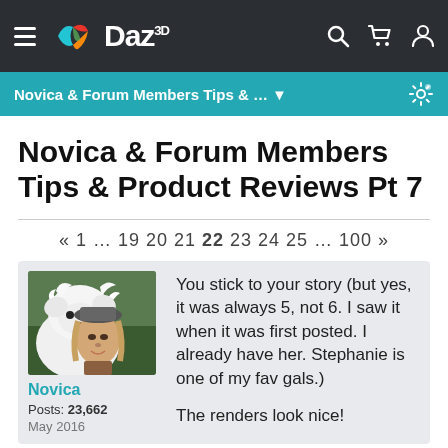Daz 3D — Navigation bar with hamburger menu, logo, search, cart, and user icons
Novica & Forum Members Tips & ... ▼
Novica & Forum Members Tips & Product Reviews Pt 7
« 1 … 19 20 21 22 23 24 25 … 100 »
[Figure (photo): Profile photo of Novica, a woman with a white Samoyed dog]
Novica
Posts: 23,662
May 2016
You stick to your story (but yes, it was always 5, not 6. I saw it when it was first posted. I already have her. Stephanie is one of my fav gals.)

The renders look nice!